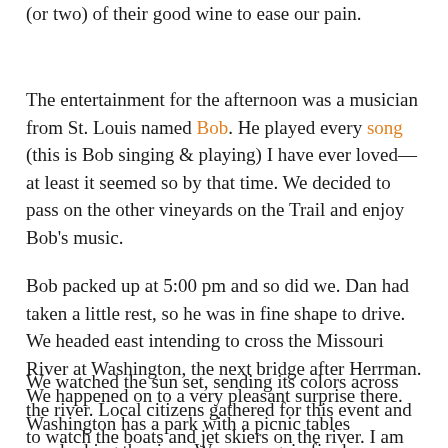(or two) of their good wine to ease our pain.
The entertainment for the afternoon was a musician from St. Louis named Bob. He played every song (this is Bob singing & playing) I have ever loved—at least it seemed so by that time. We decided to pass on the other vineyards on the Trail and enjoy Bob's music.
Bob packed up at 5:00 pm and so did we. Dan had taken a little rest, so he was in fine shape to drive. We headed east intending to cross the Missouri River at Washington, the next bridge after Herrman. We happened on to a very pleasant surprise there. Washington has a park with a picnic tables overlooking the river. We once again fired up our skillet, threw in a couple hamburgers. Instant mashed potatoes and steamed broccoli rounded out our throw together meal. There was no wine served.
We watched the sun set, sending its colors across the river. Local citizens gathered for this event and to watch the boats and jet skiers on the river. I am sure it is especially beautiful in the summer when the sun is further north and would set